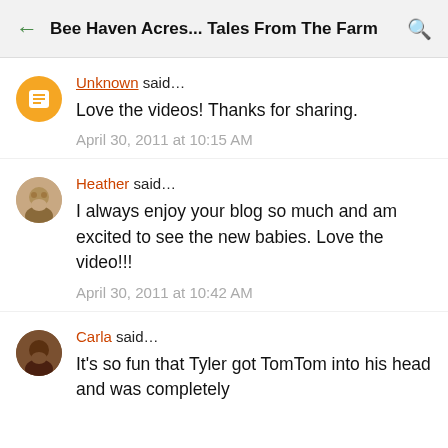Bee Haven Acres... Tales From The Farm
Unknown said...
Love the videos! Thanks for sharing.
April 30, 2011 at 10:15 AM
Heather said...
I always enjoy your blog so much and am excited to see the new babies. Love the video!!!
April 30, 2011 at 10:42 AM
Carla said...
It's so fun that Tyler got TomTom into his head and was completely